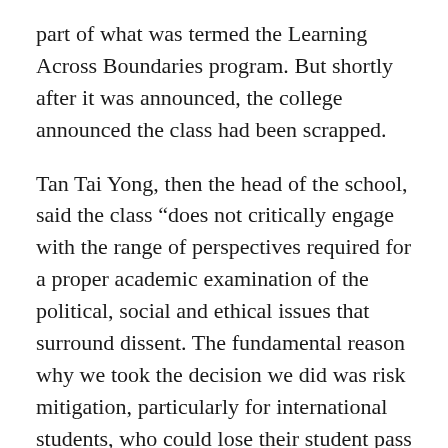part of what was termed the Learning Across Boundaries program. But shortly after it was announced, the college announced the class had been scrapped.
Tan Tai Yong, then the head of the school, said the class “does not critically engage with the range of perspectives required for a proper academic examination of the political, social and ethical issues that surround dissent. The fundamental reason why we took the decision we did was risk mitigation, particularly for international students, who could lose their student pass for engaging in political activity.”
The decision to cancel the class made it into parliament, with the Speaker, Chuan-Jin Tan, questioning its rationale and saying “Given what is happening in Hong